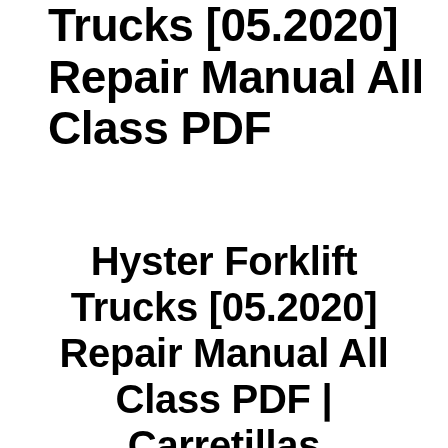Trucks [05.2020] Repair Manual All Class PDF
Hyster Forklift Trucks [05.2020] Repair Manual All Class PDF | Carretillas